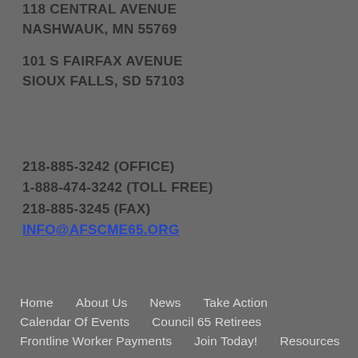118 CENTRAL AVENUE
NASHWAUK, MN 55769
101 S FAIRFAX AVENUE
SIOUX FALLS, SD 57103
218-885-3242 (OFFICE)
1-888-474-3242 (TOLL FREE)
218-885-3245 (FAX)
INFO@AFSCME65.ORG
Home   About Us   News   Take Action   Calendar Of Events   Council 65 Retirees   Frontline Worker Payments   Join Today!   Resources